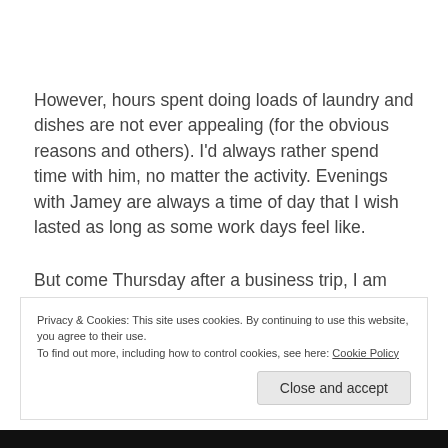However, hours spent doing loads of laundry and dishes are not ever appealing (for the obvious reasons and others). I'd always rather spend time with him, no matter the activity. Evenings with Jamey are always a time of day that I wish lasted as long as some work days feel like.
But come Thursday after a business trip, I am always ready for his return. Even if it means that he makes fun
Privacy & Cookies: This site uses cookies. By continuing to use this website, you agree to their use.
To find out more, including how to control cookies, see here: Cookie Policy
Close and accept